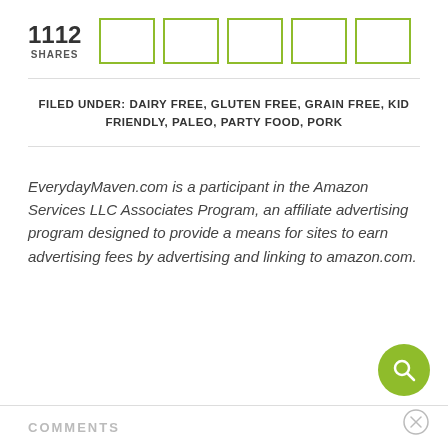1112 SHARES
FILED UNDER: DAIRY FREE, GLUTEN FREE, GRAIN FREE, KID FRIENDLY, PALEO, PARTY FOOD, PORK
EverydayMaven.com is a participant in the Amazon Services LLC Associates Program, an affiliate advertising program designed to provide a means for sites to earn advertising fees by advertising and linking to amazon.com.
COMMENTS